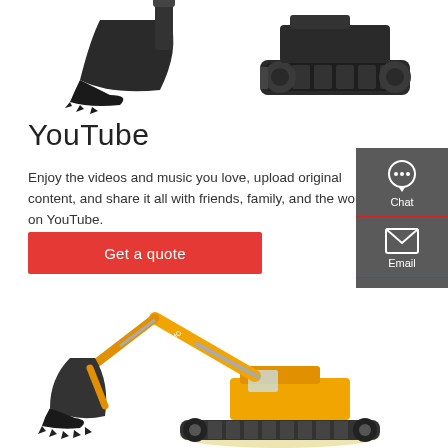[Figure (photo): Two dark/black excavator components (bucket and undercarriage/tracks) photographed against white background, cropped at top]
YouTube
Enjoy the videos and music you love, upload original content, and share it all with friends, family, and the world on YouTube.
[Figure (other): Red 'Get a quote' call-to-action button]
[Figure (infographic): Dark grey sidebar with Chat, Email, and Contact icons and labels]
[Figure (photo): Yellow XCMG excavator with large bucket attachment photographed against white background]